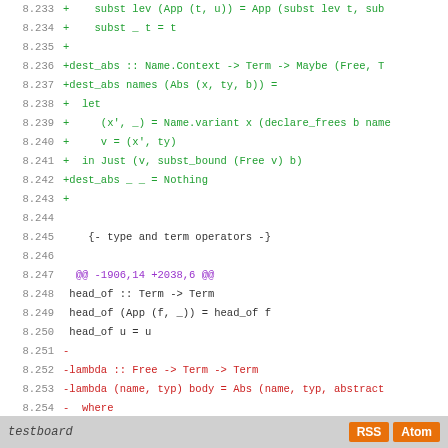[Figure (screenshot): Code diff view showing lines 8.233-8.261 with green added lines, red removed lines, purple hunk headers, and gray context lines in a monospace font.]
testboard   RSS  Atom